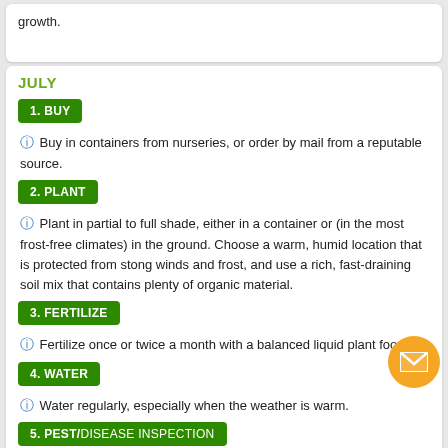growth.
JULY
1. BUY
Buy in containers from nurseries, or order by mail from a reputable source.
2. PLANT
Plant in partial to full shade, either in a container or (in the most frost-free climates) in the ground. Choose a warm, humid location that is protected from stong winds and frost, and use a rich, fast-draining soil mix that contains plenty of organic material.
3. FERTILIZE
Fertilize once or twice a month with a balanced liquid plant foo
4. WATER
Water regularly, especially when the weather is warm.
5. PEST/DISEASE INSPECTION
Watch for mealybugs and aphids, especially in locations with poor air